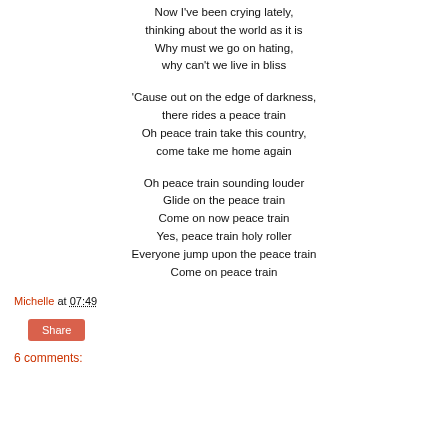Now I've been crying lately,
thinking about the world as it is
Why must we go on hating,
why can't we live in bliss
'Cause out on the edge of darkness,
there rides a peace train
Oh peace train take this country,
come take me home again
Oh peace train sounding louder
Glide on the peace train
Come on now peace train
Yes, peace train holy roller
Everyone jump upon the peace train
Come on peace train
Michelle at 07:49
Share
6 comments: